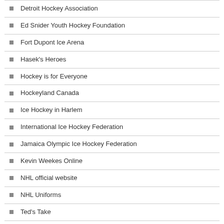Detroit Hockey Association
Ed Snider Youth Hockey Foundation
Fort Dupont Ice Arena
Hasek's Heroes
Hockey is for Everyone
Hockeyland Canada
Ice Hockey in Harlem
International Ice Hockey Federation
Jamaica Olympic Ice Hockey Federation
Kevin Weekes Online
NHL official website
NHL Uniforms
Ted's Take
The American Hockey League
The ECHL